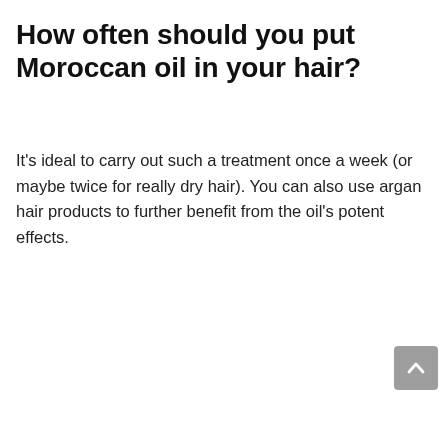How often should you put Moroccan oil in your hair?
It's ideal to carry out such a treatment once a week (or maybe twice for really dry hair). You can also use argan hair products to further benefit from the oil's potent effects.